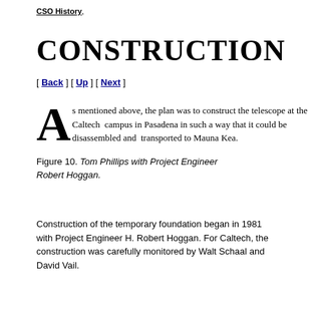CSO History
CONSTRUCTION
[ Back ] [ Up ] [ Next ]
As mentioned above, the plan was to construct the telescope at the Caltech campus in Pasadena in such a way that it could be disassembled and transported to Mauna Kea.
Figure 10. Tom Phillips with Project Engineer Robert Hoggan.
Construction of the temporary foundation began in 1981 with Project Engineer H. Robert Hoggan. For Caltech, the construction was carefully monitored by Walt Schaal and David Vail.